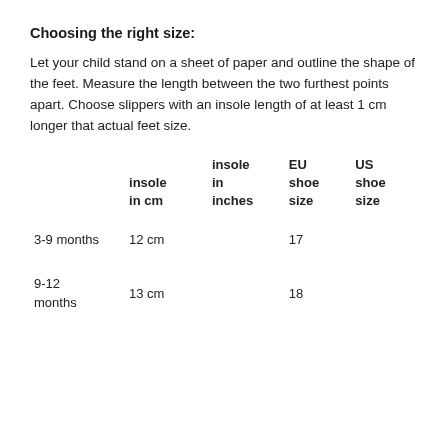Choosing the right size:
Let your child stand on a sheet of paper and outline the shape of the feet. Measure the length between the two furthest points apart. Choose slippers with an insole length of at least 1 cm longer that actual feet size.
| age | insole in cm | insole in inches | EU shoe size | US shoe size |
| --- | --- | --- | --- | --- |
| 3-9 months | 12 cm |  | 17 |  |
| 9-12 months | 13 cm |  | 18 |  |